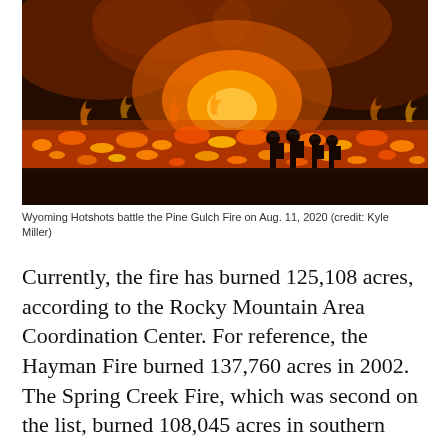[Figure (photo): Wyoming Hotshots silhouetted against a massive wildfire at night — the Pine Gulch Fire burning on Aug. 11, 2020. Firefighters are seen as dark figures against a wall of bright orange flames and glowing embers spreading across a field.]
Wyoming Hotshots battle the Pine Gulch Fire on Aug. 11, 2020 (credit: Kyle Miller)
Currently, the fire has burned 125,108 acres, according to the Rocky Mountain Area Coordination Center. For reference, the Hayman Fire burned 137,760 acres in 2002. The Spring Creek Fire, which was second on the list, burned 108,045 acres in southern Colorado in 2018.